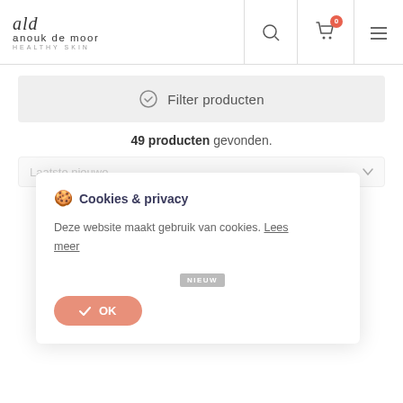anouk de moor HEALTHY SKIN
Filter producten
49 producten gevonden.
Laatste nieuwe...
Cookies & privacy
Deze website maakt gebruik van cookies. Lees meer
NIEUW
OK